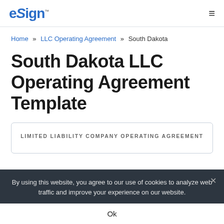eSign™
Home » LLC Operating Agreement » South Dakota
South Dakota LLC Operating Agreement Template
[Figure (other): Document preview box showing the top of a legal document with the heading 'LIMITED LIABILITY COMPANY OPERATING AGREEMENT']
By using this website, you agree to our use of cookies to analyze web traffic and improve your experience on our website.
Ok